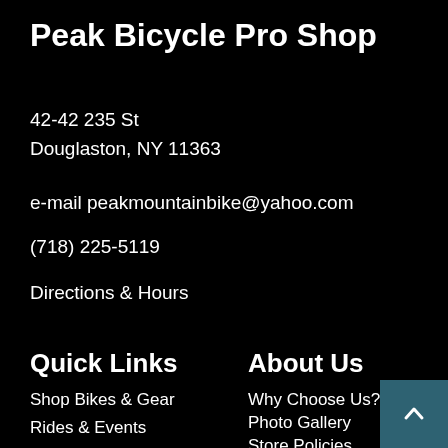Peak Bicycle Pro Shop
42-42 235 St
Douglaston, NY 11363
e-mail peakmountainbike@yahoo.com
(718) 225-5119
Directions & Hours
Quick Links
About Us
Shop Bikes & Gear
Rides & Events
Why Choose Us?
Photo Gallery
Store Policies
Privacy Policies
Accessibility Statement